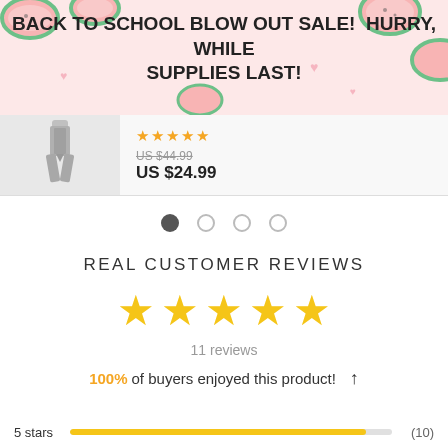BACK TO SCHOOL BLOW OUT SALE!  HURRY, WHILE SUPPLIES LAST!
[Figure (photo): Product image of a metal zipper/fastener on grey background]
US $44.99 (strikethrough) US $24.99
[Figure (infographic): Carousel navigation dots: 1 filled, 3 empty]
REAL CUSTOMER REVIEWS
[Figure (infographic): 5 large yellow stars rating]
11 reviews
100% of buyers enjoyed this product! ↑
5 stars (10)